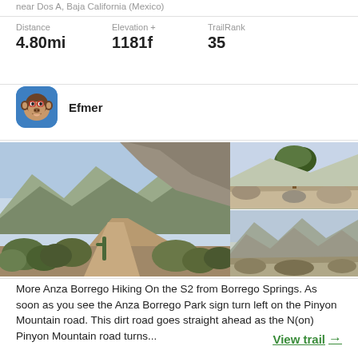near Dos A, Baja California (Mexico)
Distance
4.80mi
Elevation +
1181f
TrailRank
35
Efmer
[Figure (photo): Three trail photos: large left photo of a desert mountain trail through Anza Borrego with scrubby vegetation and rocky hills; top right photo of a tree in a rocky desert area; bottom right photo of arid mountain ridgeline.]
More Anza Borrego Hiking On the S2 from Borrego Springs. As soon as you see the Anza Borrego Park sign turn left on the Pinyon Mountain road. This dirt road goes straight ahead as the N(on) Pinyon Mountain road turns...
View trail →